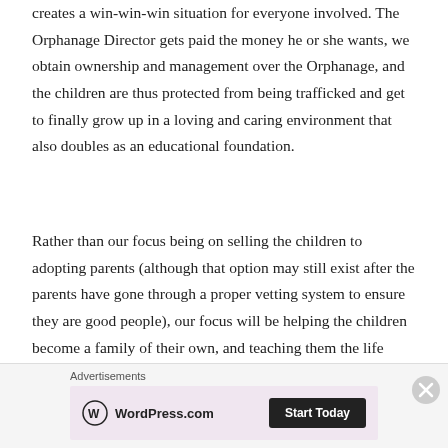creates a win-win-win situation for everyone involved. The Orphanage Director gets paid the money he or she wants, we obtain ownership and management over the Orphanage, and the children are thus protected from being trafficked and get to finally grow up in a loving and caring environment that also doubles as an educational foundation.
Rather than our focus being on selling the children to adopting parents (although that option may still exist after the parents have gone through a proper vetting system to ensure they are good people), our focus will be helping the children become a family of their own, and teaching them the life skills and knowledge
Advertisements
[Figure (other): WordPress.com advertisement banner with logo on left and 'Start Today' button on right, pink/lavender background]